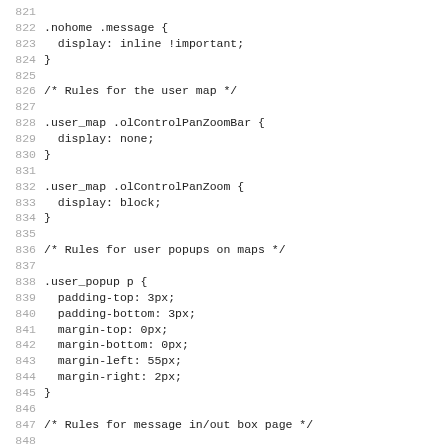Code listing lines 821-852 showing CSS rules for .nohome .message, user map controls, user popups, and messages box page.